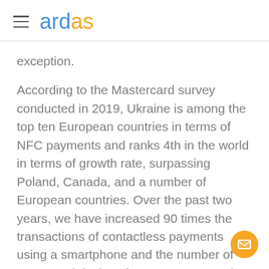ardas
exception.
According to the Mastercard survey conducted in 2019, Ukraine is among the top ten European countries in terms of NFC payments and ranks 4th in the world in terms of growth rate, surpassing Poland, Canada, and a number of European countries. Over the past two years, we have increased 90 times the transactions of contactless payments using a smartphone and the number of connected devices for NFC payments is growing by 25% every month. A Kantar MMI